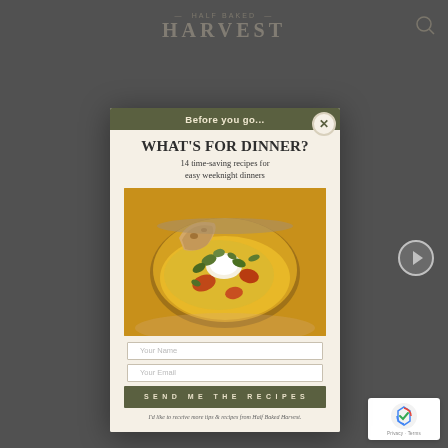— HALF BAKED — HARVEST
[Figure (screenshot): Half Baked Harvest website popup modal with newsletter signup form. Header bar reads 'Before you go...' in olive green. Main heading 'WHAT'S FOR DINNER?' followed by subtitle '14 time-saving recipes for easy weeknight dinners'. Photo of a curry bowl with naan bread and herbs. Two input fields for Your Name and Your Email. Submit button reading 'SEND ME THE RECIPES'. Disclaimer text at bottom.]
WHAT'S FOR DINNER?
14 time-saving recipes for easy weeknight dinners
Your Name
Your Email
SEND ME THE RECIPES
I'd like to receive more tips & recipes from Half Baked Harvest.